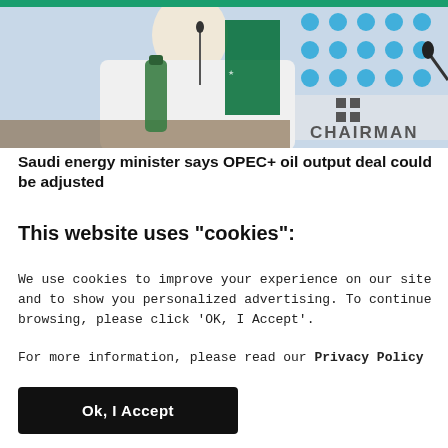[Figure (photo): Photo of a man in white traditional Saudi attire seated at a conference table with a Saudi flag, OPEC logo backdrop visible with 'CHAIRMAN' text, and a green water bottle in the foreground.]
Saudi energy minister says OPEC+ oil output deal could be adjusted
This website uses "cookies":
We use cookies to improve your experience on our site and to show you personalized advertising. To continue browsing, please click 'OK, I Accept'.
For more information, please read our Privacy Policy
Ok, I Accept